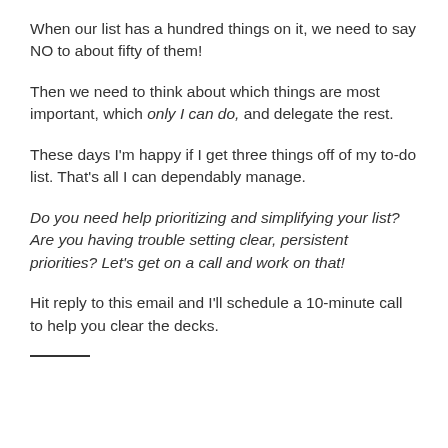When our list has a hundred things on it, we need to say NO to about fifty of them!
Then we need to think about which things are most important, which only I can do, and delegate the rest.
These days I'm happy if I get three things off of my to-do list. That's all I can dependably manage.
Do you need help prioritizing and simplifying your list? Are you having trouble setting clear, persistent priorities? Let's get on a call and work on that!
Hit reply to this email and I'll schedule a 10-minute call to help you clear the decks.